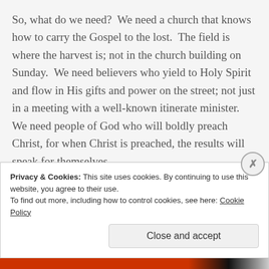So, what do we need?  We need a church that knows how to carry the Gospel to the lost.  The field is where the harvest is; not in the church building on Sunday.  We need believers who yield to Holy Spirit and flow in His gifts and power on the street; not just in a meeting with a well-known itinerate minister.  We need people of God who will boldly preach Christ, for when Christ is preached, the results will speak for themselves.
Privacy & Cookies: This site uses cookies. By continuing to use this website, you agree to their use.
To find out more, including how to control cookies, see here: Cookie Policy
Close and accept